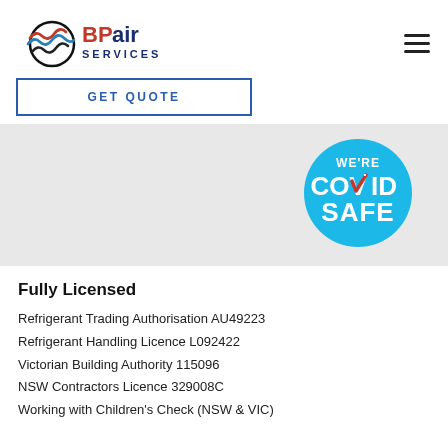[Figure (logo): BPair Services logo with stylized wind/air waves icon in red, blue, and black on the left, and text 'BPair SERVICES' in bold red/dark blue on the right]
GET QUOTE
[Figure (logo): We're COVID SAFE circular badge in bright blue with white bold text and a red/white checkmark replacing the 'V' in COVID]
Fully Licensed
Refrigerant Trading Authorisation AU49223
Refrigerant Handling Licence L092422
Victorian Building Authority 115096
NSW Contractors Licence 329008C
Working with Children's Check (NSW & VIC)